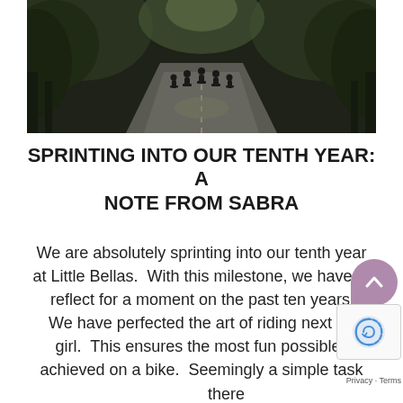[Figure (photo): Group of cyclists riding away on a tree-lined road, dark atmospheric lighting]
SPRINTING INTO OUR TENTH YEAR: A NOTE FROM SABRA
We are absolutely sprinting into our tenth year at Little Bellas.  With this milestone, we have to reflect for a moment on the past ten years…  We have perfected the art of riding next to a girl.  This ensures the most fun possible is achieved on a bike.  Seemingly a simple task there